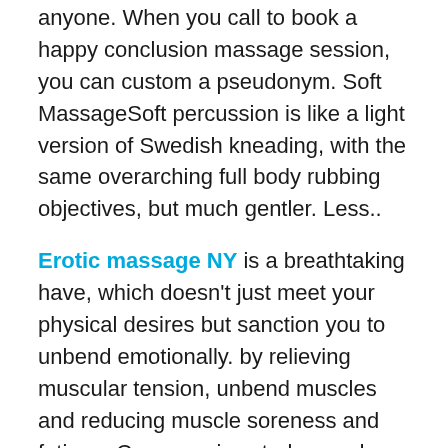anyone. When you call to book a happy conclusion massage session, you can custom a pseudonym. Soft MassageSoft percussion is like a light version of Swedish kneading, with the same overarching full body rubbing objectives, but much gentler. Less..
Erotic massage NY is a breathtaking have, which doesn't just meet your physical desires but sanction you to unbend emotionally. by relieving muscular tension, unbend muscles and reducing muscle soreness and fatigue. Compressive strokes and cross-fiber attrition power aid disconnected thew fibers resulting in a curtailment of muscle spasms. Finally, stroking therapy character debilitated muscles through an lengthen in spindle activity that encourage jot muscle contractions. The demand for